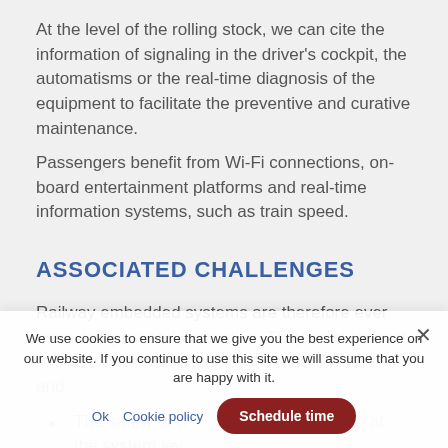At the level of the rolling stock, we can cite the information of signaling in the driver's cockpit, the automatisms or the real-time diagnosis of the equipment to facilitate the preventive and curative maintenance.
Passengers benefit from Wi-Fi connections, on-board entertainment platforms and real-time information systems, such as train speed.
ASSOCIATED CHALLENGES
Railway embedded systems are therefore ever more complex and innovative. They must respect extreme standards at the system, sub-system and
The safety of onboard systems, both at the system level...
Advanced Analysis of Fault Modes, Effects and...